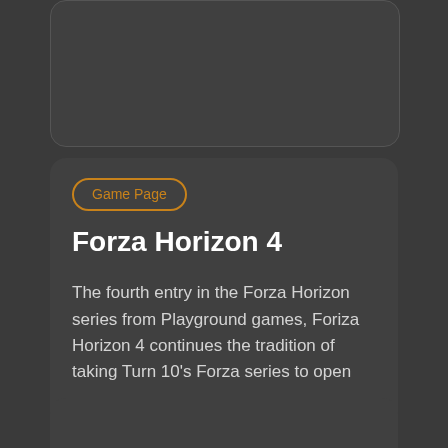[Figure (other): Top card partially visible - dark gray rounded rectangle card, cut off at top of page]
Game Page
Forza Horizon 4
The fourth entry in the Forza Horizon series from Playground games, Foriza Horizon 4 continues the tradition of taking Turn 10's Forza series to open
[Figure (other): Bottom card partially visible - dark gray rounded rectangle card, cut off at bottom of page]